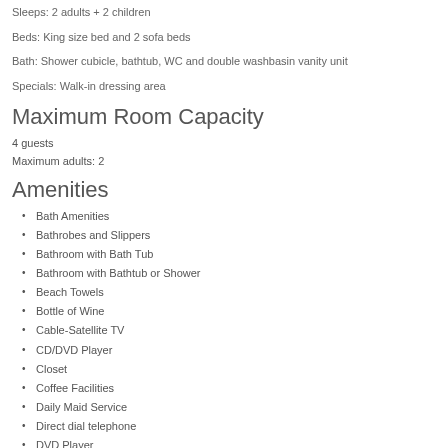Sleeps: 2 adults + 2 children
Beds: King size bed and 2 sofa beds
Bath: Shower cubicle, bathtub, WC and double washbasin vanity unit
Specials: Walk-in dressing area
Maximum Room Capacity
4 guests
Maximum adults: 2
Amenities
Bath Amenities
Bathrobes and Slippers
Bathroom with Bath Tub
Bathroom with Bathtub or Shower
Beach Towels
Bottle of Wine
Cable-Satellite TV
CD/DVD Player
Closet
Coffee Facilities
Daily Maid Service
Direct dial telephone
DVD Player
Electronic Locks
Flat Screen TV